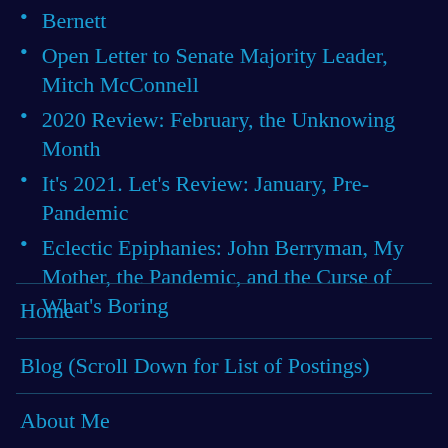Bernett
Open Letter to Senate Majority Leader, Mitch McConnell
2020 Review: February, the Unknowing Month
It's 2021. Let's Review: January, Pre-Pandemic
Eclectic Epiphanies: John Berryman, My Mother, the Pandemic, and the Curse of What's Boring
Home
Blog (Scroll Down for List of Postings)
About Me